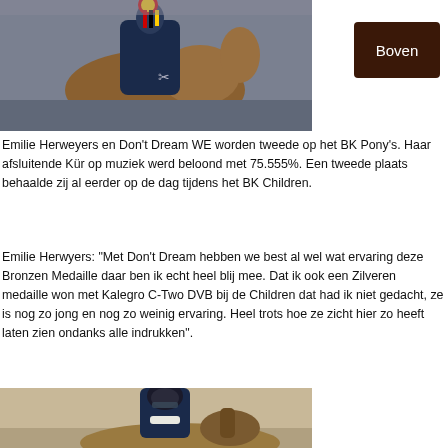[Figure (photo): Equestrian rider on horse wearing Belgian national colors ribbon/rosette, dark navy uniform, indoor arena setting]
[Figure (other): Button labeled Boven (dark brown background, white text)]
Emilie Herweyers en Don't Dream WE worden tweede op het BK Pony's. Haar afsluitende Kür op muziek werd beloond met 75.555%. Een tweede plaats behaalde zij al eerder op de dag tijdens het BK Children.
Emilie Herwyers: "Met Don't Dream hebben we best al wel wat ervaring deze Bronzen Medaille daar ben ik echt heel blij mee. Dat ik ook een Zilveren medaille won met Kalegro C-Two DVB bij de Children dat had ik niet gedacht, ze is nog zo jong en nog zo weinig ervaring. Heel trots hoe ze zicht hier zo heeft laten zien ondanks alle indrukken".
[Figure (photo): Equestrian rider in dark navy jacket and black helmet on a horse, indoor arena, lower portion of image]